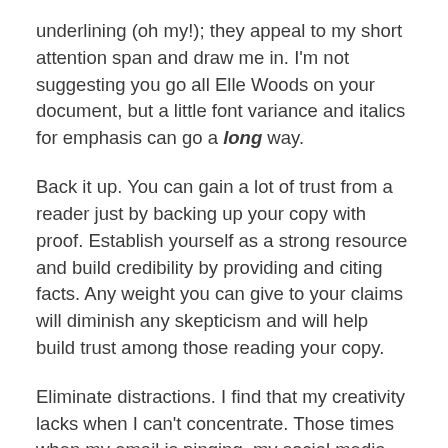underlining (oh my!); they appeal to my short attention span and draw me in. I'm not suggesting you go all Elle Woods on your document, but a little font variance and italics for emphasis can go a long way.
Back it up. You can gain a lot of trust from a reader just by backing up your copy with proof. Establish yourself as a strong resource and build credibility by providing and citing facts. Any weight you can give to your claims will diminish any skepticism and will help build trust among those reading your copy.
Eliminate distractions. I find that my creativity lacks when I can't concentrate. Those times when my email is pinging, my social media notifications are visible or I hear lunch planning discussions